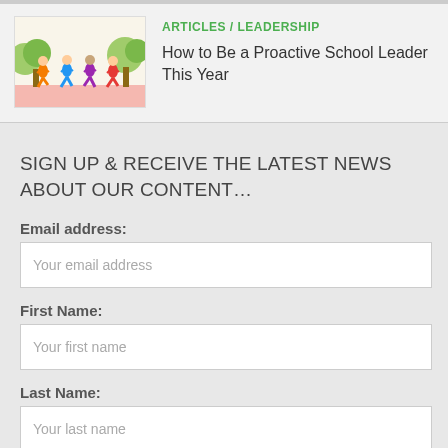[Figure (illustration): Illustration of diverse people running or walking together outdoors with colorful clothing and trees in the background]
ARTICLES / LEADERSHIP
How to Be a Proactive School Leader This Year
SIGN UP & RECEIVE THE LATEST NEWS ABOUT OUR CONTENT…
Email address:
Your email address
First Name:
Your first name
Last Name:
Your last name
Sign up